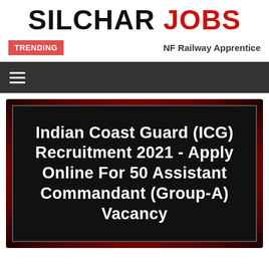SILCHAR JOBS
TRENDING  NF Railway Apprentice
[Figure (screenshot): Dark navigation bar with hamburger menu icon (three white horizontal lines) on dark gray background]
[Figure (infographic): Indian Coast Guard (ICG) Recruitment 2021 - Apply Online For 50 Assistant Commandant (Group-A) Vacancy — white bold text on black background with red decorative border/background]